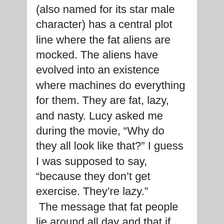(also named for its star male character) has a central plot line where the fat aliens are mocked. The aliens have evolved into an existence where machines do everything for them. They are fat, lazy, and nasty. Lucy asked me during the movie, “Why do they all look like that?” I guess I was supposed to say, “because they don’t get exercise. They’re lazy.” The message that fat people lie around all day and that if you don’t work out, you will look like a fat, pink alien is not something I want my daughter to learn. She’s six years old. I’d rather her do the monkey bars and play soccer because she loves it and it’s fun. I’d like my girls to